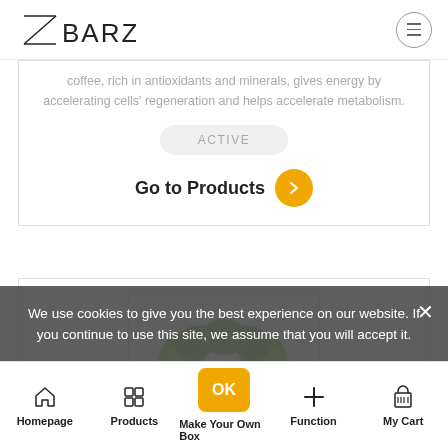ZBARZ [logo] [menu]
coffee, rich in antioxidants and minerals, gives energy by accelerating cells' regeneration and helps accelerate metabolism.
ACTIVE
Go to Products
[Figure (photo): A fresh green herb (parsley) branch with leaves on a white background inside a bordered box]
We use cookies to give you the best experience on our website. If you continue to use this site, we assume that you will accept it.
Homepage | Products | Make Your Own Box | Function | My Cart